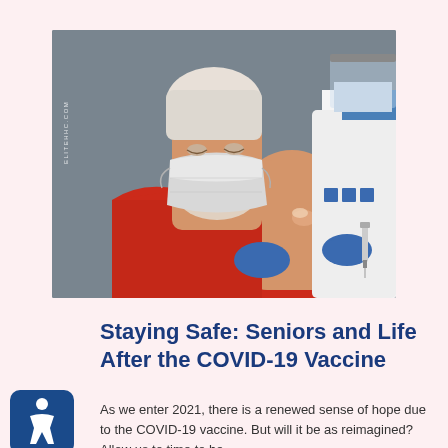[Figure (photo): An elderly man wearing a face mask and red sleeveless shirt receiving a COVID-19 vaccine injection in his arm from a healthcare worker wearing blue gloves and white coat with a face shield.]
Staying Safe: Seniors and Life After the COVID-19 Vaccine
As we enter 2021, there is a renewed sense of hope due to the COVID-19 vaccine. But will it be as reimagined? Allow us to time to he...